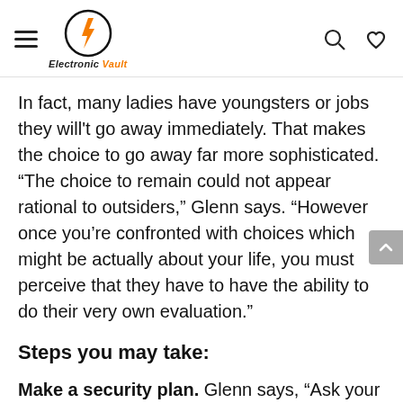Electronic Vault — navigation header with hamburger menu, logo, search and heart icons
In fact, many ladies have youngsters or jobs they will't go away immediately. That makes the choice to go away far more sophisticated. “The choice to remain could not appear rational to outsiders,” Glenn says. “However once you’re confronted with choices which might be actually about your life, you must perceive that they have to have the ability to do their very own evaluation.”
Steps you may take:
Make a security plan. Glenn says, “Ask your self, what do I must do to be protected in any circumstance? That would imply letting a neighbor